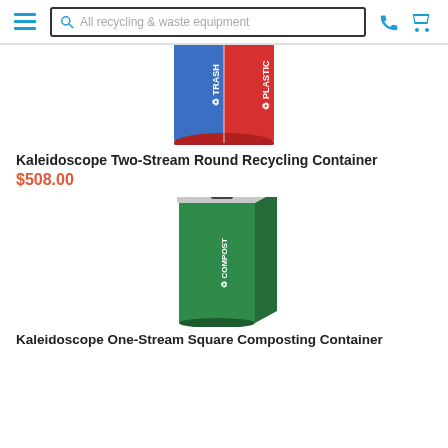All recycling & waste equipment (search bar)
[Figure (photo): Kaleidoscope Two-Stream Round Recycling Container — a cylindrical bin with blue half labeled TRASH and red half labeled PLASTIC, partially cropped at top]
Kaleidoscope Two-Stream Round Recycling Container
$508.00
[Figure (photo): Kaleidoscope One-Stream Square Composting Container — a green square bin with COMPOST text and logo on two visible sides, silver/grey lid with square opening]
Kaleidoscope One-Stream Square Composting Container